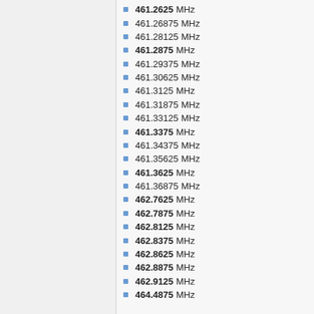461.2625 MHz
461.26875 MHz
461.28125 MHz
461.2875 MHz
461.29375 MHz
461.30625 MHz
461.3125 MHz
461.31875 MHz
461.33125 MHz
461.3375 MHz
461.34375 MHz
461.35625 MHz
461.3625 MHz
461.36875 MHz
462.7625 MHz
462.7875 MHz
462.8125 MHz
462.8375 MHz
462.8625 MHz
462.8875 MHz
462.9125 MHz
464.4875 MHz